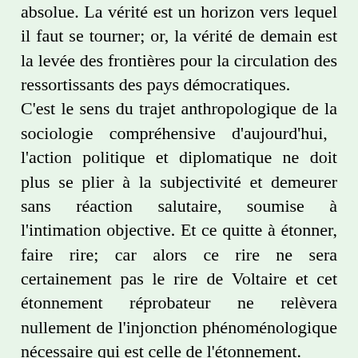absolue. La vérité est un horizon vers lequel il faut se tourner; or, la vérité de demain est la levée des frontières pour la circulation des ressortissants des pays démocratiques. C'est le sens du trajet anthropologique de la sociologie compréhensive d'aujourd'hui, l'action politique et diplomatique ne doit plus se plier à la subjectivité et demeurer sans réaction salutaire, soumise à l'intimation objective. Et ce quitte à étonner, faire rire; car alors ce rire ne sera certainement pas le rire de Voltaire et cet étonnement réprobateur ne relèvera nullement de l'injonction phénoménologique nécessaire qui est celle de l'étonnement.
Certes, me diriez-vous, le visa n'est pas un empêchement à circuler et il est même exigé de pays ayant une longue tradition démocratique; mais cela, vous en conviendrez, relève plutôt du sophisme, car il